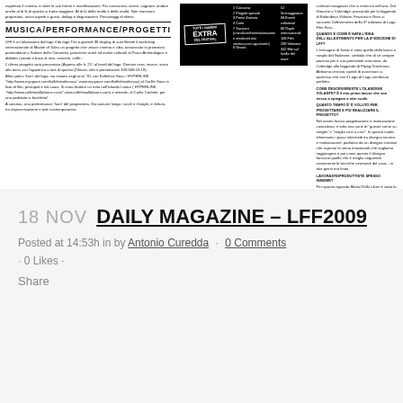[Figure (screenshot): Scanned page of Lago Fest 2009 festival program/magazine with Italian text, MUSICA/PERFORMANCE/PROGETTI section header, EXTRA black box with numbered list, and festival footer with 'Fest 2009' logo and www.lagofest.org URL]
18 NOV DAILY MAGAZINE – LFF2009
Posted at 14:53h in by Antonio Curedda · 0 Comments
· 0 Likes ·
Share